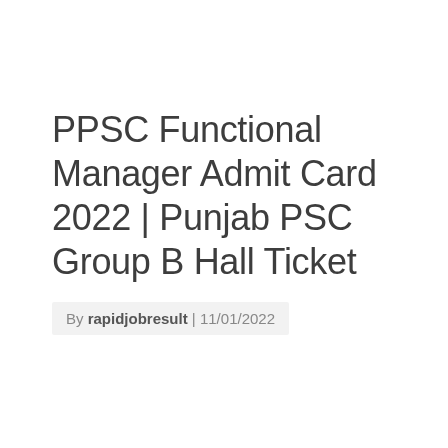PPSC Functional Manager Admit Card 2022 | Punjab PSC Group B Hall Ticket
By rapidjobresult | 11/01/2022